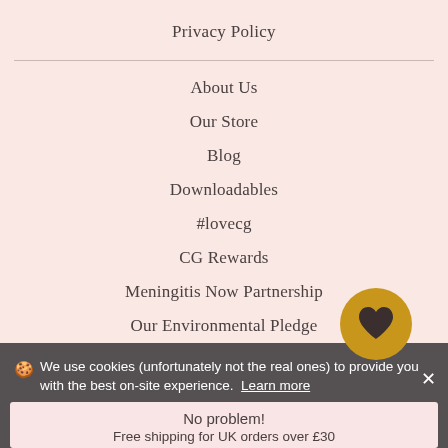Privacy Policy
About Us
Our Store
Blog
Downloadables
#lovecg
CG Rewards
Meningitis Now Partnership
Our Environmental Pledge
🍪 We use cookies (unfortunately not the real ones) to provide you with the best on-site experience. Learn more
No problem!
Free shipping for UK orders over £30